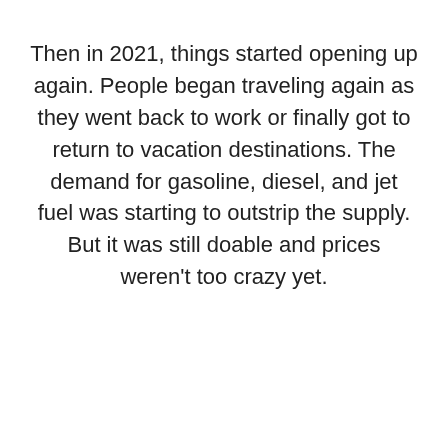Then in 2021, things started opening up again. People began traveling again as they went back to work or finally got to return to vacation destinations. The demand for gasoline, diesel, and jet fuel was starting to outstrip the supply. But it was still doable and prices weren't too crazy yet.